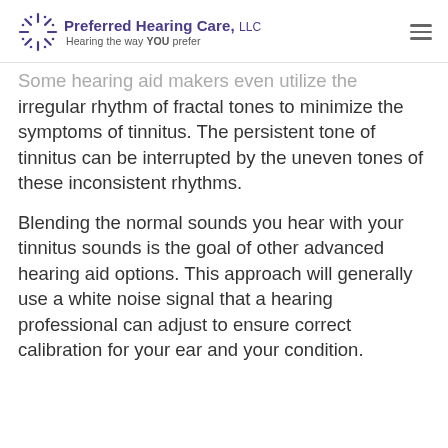Preferred Hearing Care, LLC — Hearing the way YOU prefer
Some hearing aid makers even utilize the irregular rhythm of fractal tones to minimize the symptoms of tinnitus. The persistent tone of tinnitus can be interrupted by the uneven tones of these inconsistent rhythms.
Blending the normal sounds you hear with your tinnitus sounds is the goal of other advanced hearing aid options. This approach will generally use a white noise signal that a hearing professional can adjust to ensure correct calibration for your ear and your condition.